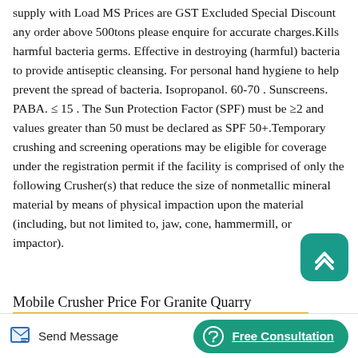supply with Load MS Prices are GST Excluded Special Discount any order above 500tons please enquire for accurate charges.Kills harmful bacteria germs. Effective in destroying (harmful) bacteria to provide antiseptic cleansing. For personal hand hygiene to help prevent the spread of bacteria. Isopropanol. 60-70 . Sunscreens. PABA. ≤ 15 . The Sun Protection Factor (SPF) must be ≥2 and values greater than 50 must be declared as SPF 50+.Temporary crushing and screening operations may be eligible for coverage under the registration permit if the facility is comprised of only the following Crusher(s) that reduce the size of nonmetallic mineral material by means of physical impaction upon the material (including, but not limited to, jaw, cone, hammermill, or impactor).
Mobile Crusher Price For Granite Quarry
[Figure (other): Scroll-to-top button: rounded teal square with upward chevron icon]
[Figure (other): Bottom action bar with 'Send Message' button (pencil/envelope icon) on left and 'Free Consultation' teal pill button with headset icon on right]